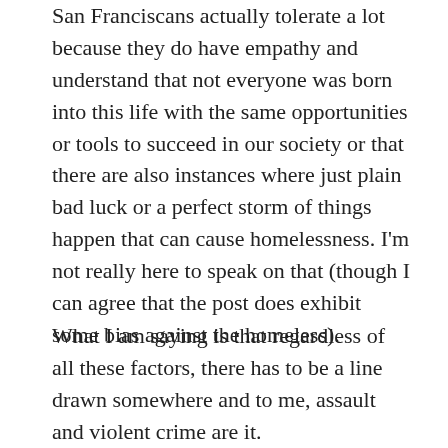San Franciscans actually tolerate a lot because they do have empathy and understand that not everyone was born into this life with the same opportunities or tools to succeed in our society or that there are also instances where just plain bad luck or a perfect storm of things happen that can cause homelessness. I'm not really here to speak on that (though I can agree that the post does exhibit some bias against the homeless).
What I am saying is that regardless of all these factors, there has to be a line drawn somewhere and to me, assault and violent crime are it.